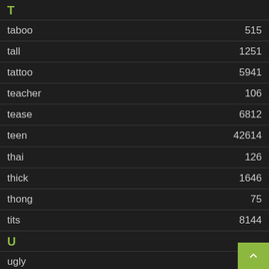T
taboo   515
tall   1251
tattoo   5941
teacher   106
tease   6812
teen   42614
thai   126
thick   1646
thong   75
tits   8144
U
ugly   33
upskirt   16555
V
vibrator